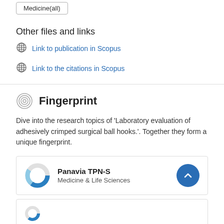Medicine(all)
Other files and links
Link to publication in Scopus
Link to the citations in Scopus
Fingerprint
Dive into the research topics of 'Laboratory evaluation of adhesively crimped surgical ball hooks.'. Together they form a unique fingerprint.
Panavia TPN-S
Medicine & Life Sciences
[Figure (donut-chart): Partial donut/pie chart for Panavia TPN-S, Medicine & Life Sciences]